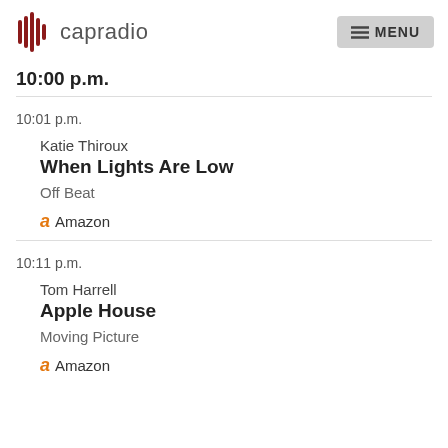capradio  MENU
10:00 p.m.
10:01 p.m.
Katie Thiroux
When Lights Are Low
Off Beat
Amazon
10:11 p.m.
Tom Harrell
Apple House
Moving Picture
Amazon